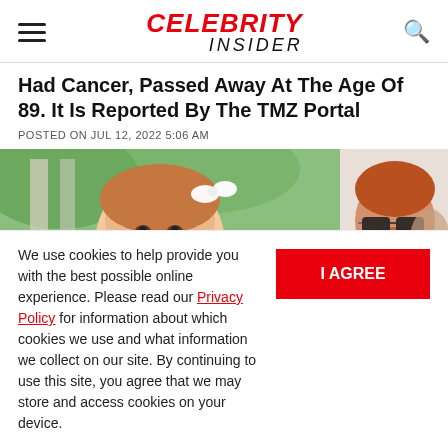CELEBRITY INSIDER
Had Cancer, Passed Away At The Age Of 89. It Is Reported By The TMZ Portal
POSTED ON JUL 12, 2022 5:06 AM
[Figure (photo): Photo showing a young child with a bow in her hair on the left, and a red-haired bearded man wearing dark sunglasses on the right]
We use cookies to help provide you with the best possible online experience. Please read our Privacy Policy for information about which cookies we use and what information we collect on our site. By continuing to use this site, you agree that we may store and access cookies on your device.